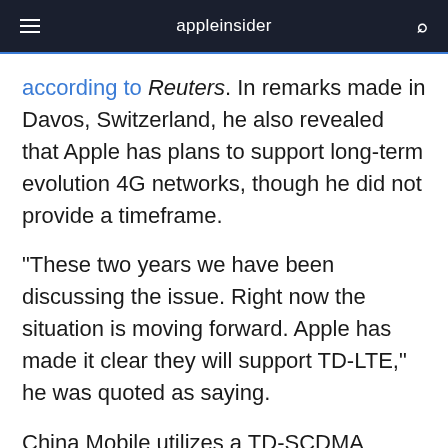appleinsider
according to Reuters. In remarks made in Davos, Switzerland, he also revealed that Apple has plans to support long-term evolution 4G networks, though he did not provide a timeframe.
"These two years we have been discussing the issue. Right now the situation is moving forward. Apple has made it clear they will support TD-LTE," he was quoted as saying.
China Mobile utilizes a TD-SCDMA network, its own home-grown standard for 3G wireless connectivity. The chairman revealed that his